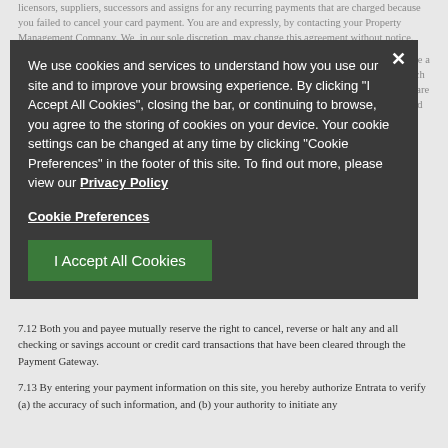licensors, suppliers, successors and assigns for any recurring payments that are charged because you failed to cancel your card payment. You are and expressly, by contacting your Property Management Company. We, in our sole discretion, may change this agreement without notice.
7.11 If you believe a transaction was made improperly, we in our sole discretion may void, issue a credit, or rescind any transaction made through the Payment Gateway prior to remittance of such payment to your payee. Payment disputes arising after payment has been settled to your payee are between you and payee alone. We may act as an intermediary if such actions can reasonably and efficiently
We use cookies and services to understand how you use our site and to improve your browsing experience. By clicking "I Accept All Cookies", closing the bar, or continuing to browse, you agree to the storing of cookies on your device. Your cookie settings can be changed at any time by clicking "Cookie Preferences" in the footer of this site. To find out more, please view our Privacy Policy
Cookie Preferences
I Accept All Cookies
7.12 Both you and payee mutually reserve the right to cancel, reverse or halt any and all checking or savings account or credit card transactions that have been cleared through the Payment Gateway.
7.13 By entering your payment information on this site, you hereby authorize Entrata to verify (a) the accuracy of such information, and (b) your authority to initiate any